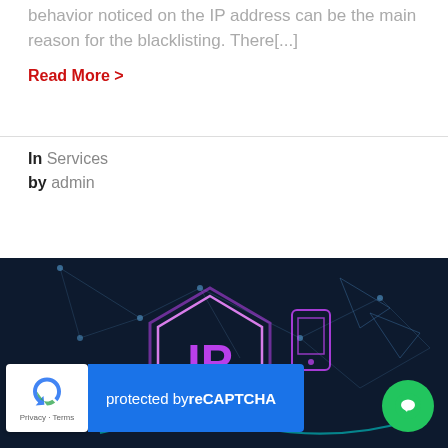behavior noticed on the IP address can be the main reason for the blacklisting. There[...]
Read More >
In Services
by admin
[Figure (illustration): Dark blue network/technology background with glowing purple neon IP address hexagonal icon and connected nodes, overlaid with a reCAPTCHA widget showing Google logo and 'protected by reCAPTCHA' text, and a green chat bubble button in the bottom right.]